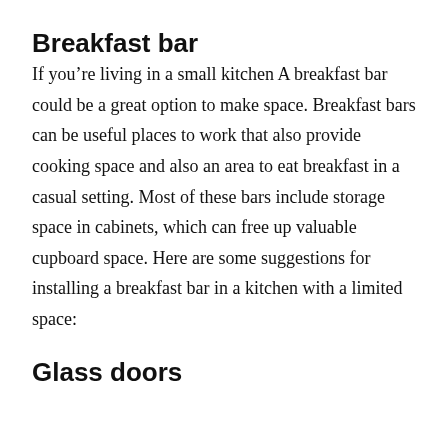Breakfast bar
If you’re living in a small kitchen A breakfast bar could be a great option to make space. Breakfast bars can be useful places to work that also provide cooking space and also an area to eat breakfast in a casual setting. Most of these bars include storage space in cabinets, which can free up valuable cupboard space. Here are some suggestions for installing a breakfast bar in a kitchen with a limited space:
Glass doors